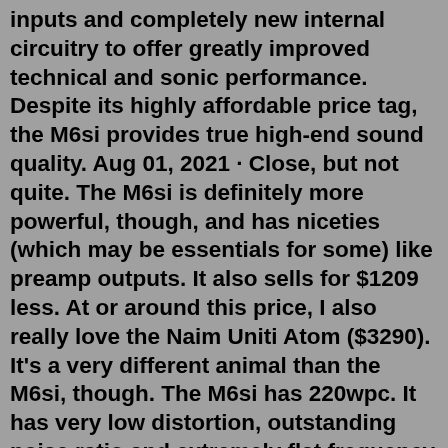inputs and completely new internal circuitry to offer greatly improved technical and sonic performance. Despite its highly affordable price tag, the M6si provides true high-end sound quality. Aug 01, 2021 · Close, but not quite. The M6si is definitely more powerful, though, and has niceties (which may be essentials for some) like preamp outputs. It also sells for $1209 less. At or around this price, I also really love the Naim Uniti Atom ($3290). It's a very different animal than the M6si, though. The M6si has 220wpc. It has very low distortion, outstanding noise ratio and extremely flat frequency response. Its inputs are phono (MM/MC), 4 line level, 1 balanced XLR and 1 USB 'B' up to 24bit 96kHz asynchronous. The M6 combination of high power, high current and extraordinary stability means that it can drive any loudspeaker with ease. £ 2499 Add to Cart About This Product The M6si offers such excellent performance, facilities and power that unless you are seeking the most exotic high-end sound quality you would never